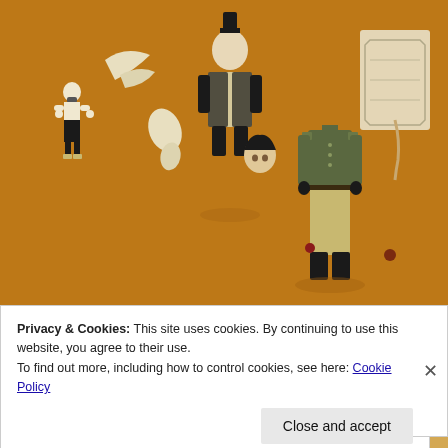[Figure (photo): Photograph of toy action figures and figurine parts scattered on a brown/orange surface. Includes a small LEGO-style bearded figure, disassembled limbs, a headless military uniform figure, a figure with top hat, and plastic mold parts.]
Privacy & Cookies: This site uses cookies. By continuing to use this website, you agree to their use.
To find out more, including how to control cookies, see here: Cookie Policy